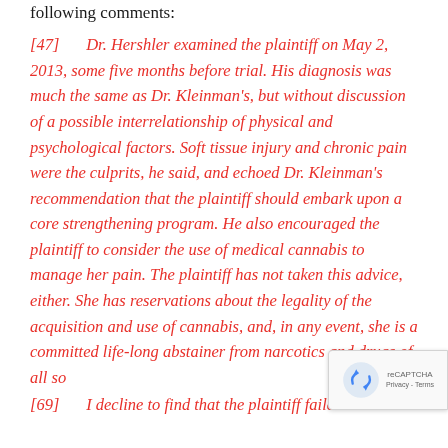following comments:
[47]       Dr. Hershler examined the plaintiff on May 2, 2013, some five months before trial. His diagnosis was much the same as Dr. Kleinman's, but without discussion of a possible interrelationship of physical and psychological factors. Soft tissue injury and chronic pain were the culprits, he said, and echoed Dr. Kleinman's recommendation that the plaintiff should embark upon a core strengthening program. He also encouraged the plaintiff to consider the use of medical cannabis to manage her pain. The plaintiff has not taken this advice, either. She has reservations about the legality of the acquisition and use of cannabis, and, in any event, she is a committed life-long abstainer from narcotics and drugs of all so
[69]       I decline to find that the plaintiff failed